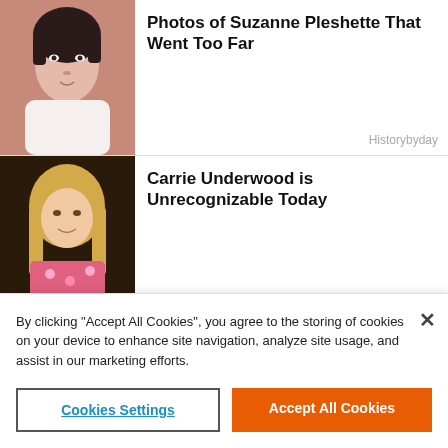[Figure (photo): Woman with short dark hair, portrait photo]
Photos of Suzanne Pleshette That Went Too Far
Historybyday
[Figure (photo): Young blonde woman in floral outfit]
Carrie Underwood is Unrecognizable Today
Livingmgz
[Figure (photo): Couple at formal event, woman in grey dress, man in tuxedo]
He Was Cheating on His Wife with a 14-Year-Old
Livingmgz
[Figure (photo): Two women portraits side by side, Mila Kunis and Demi Moore]
Mila Kunis And Ashton Kutcher Are "Not Doing Well"
Freshedits
[Figure (photo): Woman with dark reddish hair, partially visible]
This Hockey Wife Is Hands Down The Most Beautiful
By clicking "Accept All Cookies", you agree to the storing of cookies on your device to enhance site navigation, analyze site usage, and assist in our marketing efforts.
Cookies Settings
Accept All Cookies